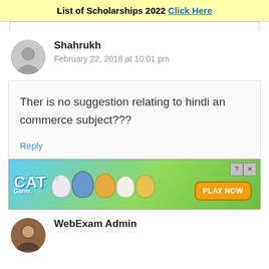List of Scholarships 2022 Click Here
Shahrukh
February 22, 2018 at 10:01 pm
Ther is no suggestion relating to hindi an commerce subject???
Reply
[Figure (photo): Cat Game advertisement banner with cartoon cats and a PLAY NOW button]
WebExam Admin